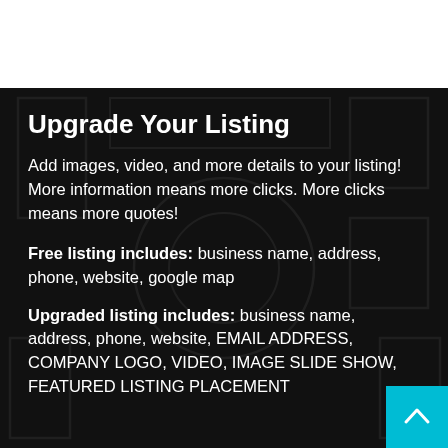Upgrade Your Listing
Add images, video, and more details to your listing! More information means more clicks. More clicks means more quotes!
Free listing includes: business name, address, phone, website, google map
Upgraded listing includes: business name, address, phone, website, EMAIL ADDRESS, COMPANY LOGO, VIDEO, IMAGE SLIDE SHOW, FEATURED LISTING PLACEMENT